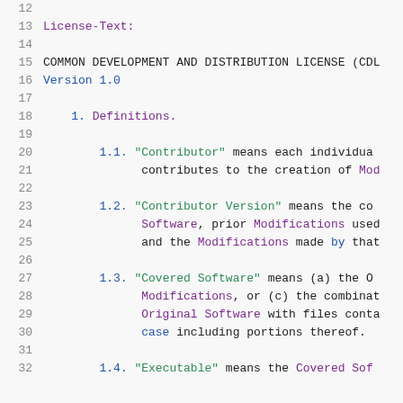12  (empty line)
13  License-Text:
14  (empty line)
15  COMMON DEVELOPMENT AND DISTRIBUTION LICENSE (CDL
16  Version 1.0
17  (empty line)
18      1. Definitions.
19  (empty line)
20          1.1. "Contributor" means each individual
21               contributes to the creation of Mod
22  (empty line)
23          1.2. "Contributor Version" means the co
24               Software, prior Modifications used
25               and the Modifications made by that
26  (empty line)
27          1.3. "Covered Software" means (a) the O
28               Modifications, or (c) the combinat
29               Original Software with files conta
30               case including portions thereof.
31  (empty line)
32          1.4. "Executable" means the Covered Sof